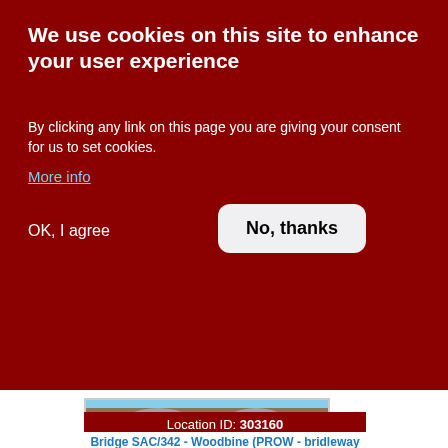We use cookies on this site to enhance your user experience
By clicking any link on this page you are giving your consent for us to set cookies.
More info
OK, I agree
No, thanks
[Figure (photo): Stone railway viaduct with two arches over a road, photographed from road level. © Mark R. Harvey (2012)]
Location ID: 303160
Bridge SAC/342 - Woodbine (PROW - bridleway / track)